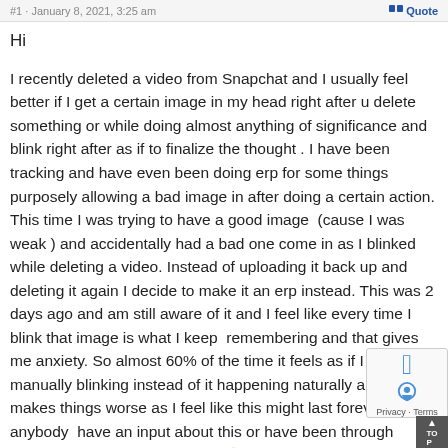#1 · January 8, 2021, 3:25 am    Quote
Hi
I recently deleted a video from Snapchat and I usually feel better if I get a certain image in my head right after u delete something or while doing almost anything of significance and blink right after as if to finalize the thought . I have been tracking and have even been doing erp for some things purposely allowing a bad image in after doing a certain action. This time I was trying to have a good image  (cause I was weak ) and accidentally had a bad one come in as I blinked while deleting a video. Instead of uploading it back up and deleting it again I decide to make it an erp instead. This was 2 days ago and am still aware of it and I feel like every time I blink that image is what I keep  remembering and that gives me anxiety. So almost 60% of the time it feels as if I am manually blinking instead of it happening naturally and that makes things worse as I feel like this might last forever. Does anybody  have an input about this or have been through something similar ? Thank you 🙂